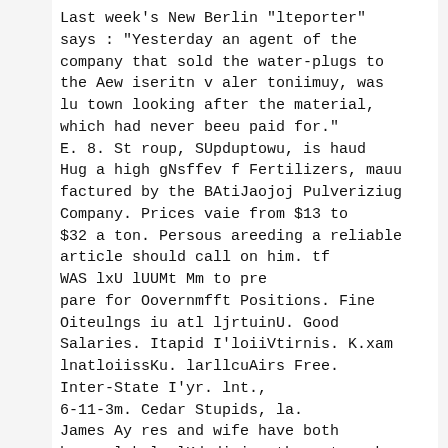Last week's New Berlin "lteporter" says : "Yesterday an agent of the company that sold the water-plugs to the Aew iseritn v aler toniimuy, was lu town looking after the material, which had never beeu paid for." E. 8. St roup, SUpduptowu, is haud Hug a high gNsffev f Fertilizers, mauu factured by the BAtiJaojoj Pulveriziug Company. Prices vaie from $13 to $32 a ton. Persous areeding a reliable article should call on him. tf WAS lxU lUUMt Mm to pre pare for Oovernmfft Positions. Fine Oiteulngs iu atl ljrtuinU. Good Salaries. Itapid I'loiiVtirnis. K.xam lnatloiissKu. larllcuAirs Free. Inter-State I'yr. lnt., 6-11-3m. Cedar Stupids, la. James Ay res and wife have both been slek lu lKd dining the put week. Their mn Win. Ayiva and wlfo of Paxtouvlllti and their ihamhter, Mis. II. 11. Leitzel and hou Kueno of Mit